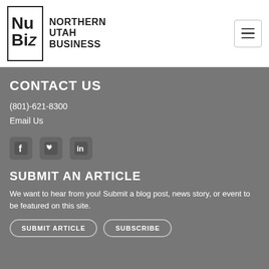[Figure (logo): Northern Utah Business (NUBiZ) logo with stylized letters NUBiZ in a bordered box, with bold text NORTHERN UTAH BUSINESS to the right]
CONTACT US
(801)-621-8300
Email Us
[Figure (illustration): Social media icons: Facebook, Twitter, LinkedIn]
SUBMIT AN ARTICLE
We want to hear from you! Submit a blog post, news story, or event to be featured on this site.
SUBMIT ARTICLE   SUBSCRIBE